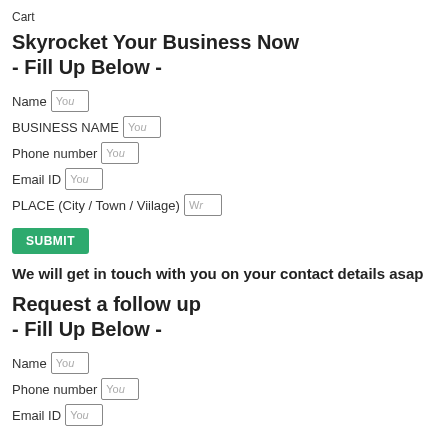Cart
Skyrocket Your Business Now - Fill Up Below -
Name [You]
BUSINESS NAME [You]
Phone number [You]
Email ID [You]
PLACE (City / Town / Viilage) [Wr]
SUBMIT
We will get in touch with you on your contact details asap
Request a follow up - Fill Up Below -
Name [You]
Phone number [You]
Email ID [You]